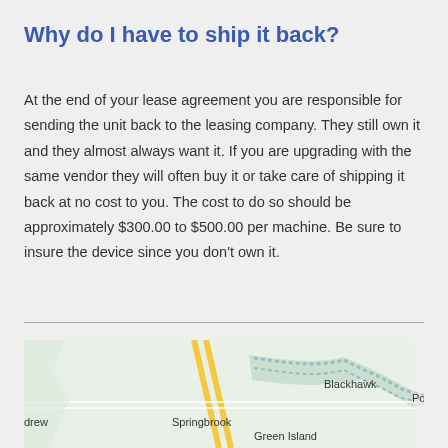Why do I have to ship it back?
At the end of your lease agreement you are responsible for sending the unit back to the leasing company. They still own it and they almost always want it. If you are upgrading with the same vendor they will often buy it or take care of shipping it back at no cost to you. The cost to do so should be approximately $300.00 to $500.00 per machine. Be sure to insure the device since you don't own it.
[Figure (map): Street map showing areas including Springbrook, Blackhawk, Green Island, and partial labels for Andrew and Pol, with roads and water features visible.]